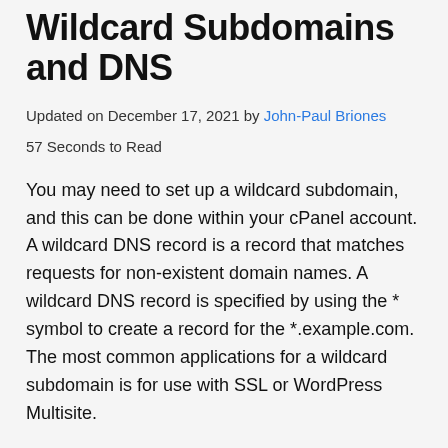Wildcard Subdomains and DNS
Updated on December 17, 2021 by John-Paul Briones
57 Seconds to Read
You may need to set up a wildcard subdomain, and this can be done within your cPanel account. A wildcard DNS record is a record that matches requests for non-existent domain names. A wildcard DNS record is specified by using the * symbol to create a record for the *.example.com. The most common applications for a wildcard subdomain is for use with SSL or WordPress Multisite.